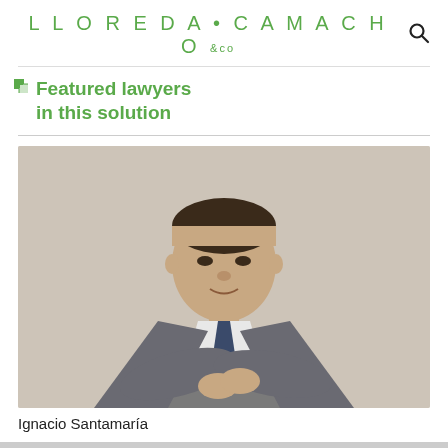LLOREDA·CAMACHO &co
Featured lawyers in this solution
[Figure (photo): Professional portrait photo of Ignacio Santamaría, a middle-aged man in a grey suit with arms crossed, against a beige/cream background.]
Ignacio Santamaría